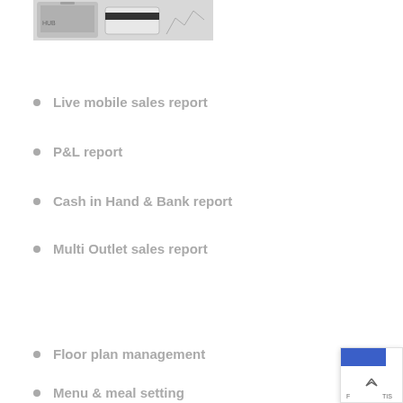[Figure (photo): Photo showing a mobile device and credit card with charts/reports in the background, partially cropped at top]
Live mobile sales report
P&L report
Cash in Hand & Bank report
Multi Outlet sales report
Floor plan management
Menu & meal setting
[Figure (screenshot): Partial overlay UI element in bottom-right corner showing blue graphic, an up-arrow chevron, and partial text labels 'F' and 'TIS']